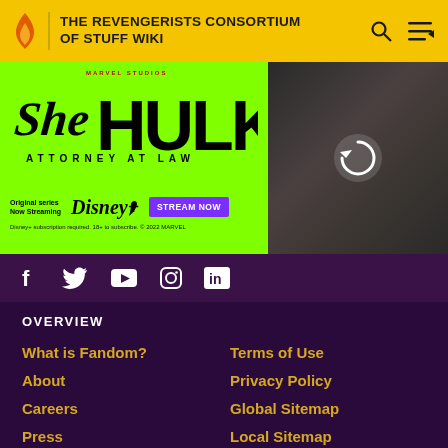THE REVENGERISTS CONSORTIUM OF STUFF WIKI
[Figure (screenshot): She-Hulk Attorney at Law promotional banner on green background with streaming info and Disney+ button, with photo of actress on right side]
f  Twitter  YouTube  Instagram  in
OVERVIEW
What is Fandom?
Terms of Use
About
Privacy Policy
Careers
Global Sitemap
Press
Local Sitemap
Contact